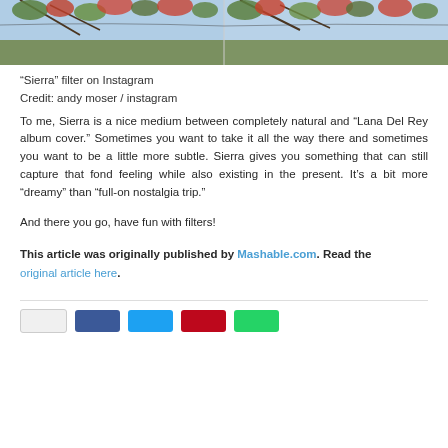[Figure (photo): Two side-by-side photos showing tree branches with leaves against a blue sky, with a Sierra Instagram filter applied]
“Sierra” filter on Instagram
Credit: andy moser / instagram
To me, Sierra is a nice medium between completely natural and “Lana Del Rey album cover.” Sometimes you want to take it all the way there and sometimes you want to be a little more subtle. Sierra gives you something that can still capture that fond feeling while also existing in the present. It’s a bit more “dreamy” than “full-on nostalgia trip.”
And there you go, have fun with filters!
This article was originally published by Mashable.com. Read the original article here.
[Figure (other): Social share buttons: share count, Facebook, Twitter, Pinterest, WhatsApp]